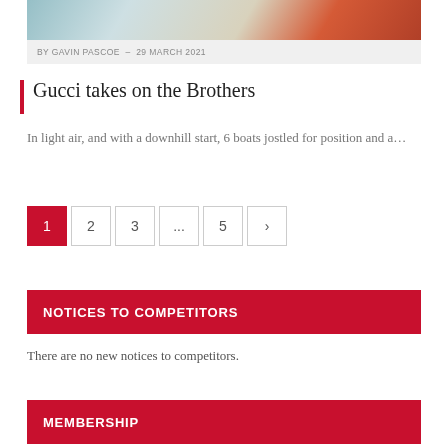[Figure (photo): Partial photo of a person wearing sunglasses and a red jacket on a boat, cropped at top]
BY GAVIN PASCOE – 29 MARCH 2021
Gucci takes on the Brothers
In light air, and with a downhill start, 6 boats jostled for position and a…
1
2
3
...
5
›
NOTICES TO COMPETITORS
There are no new notices to competitors.
MEMBERSHIP